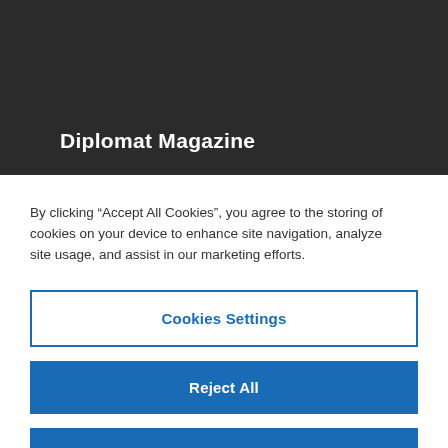Diplomat Magazine
By clicking “Accept All Cookies”, you agree to the storing of cookies on your device to enhance site navigation, analyze site usage, and assist in our marketing efforts.
Cookies Settings
Reject All
Accept All Cookies